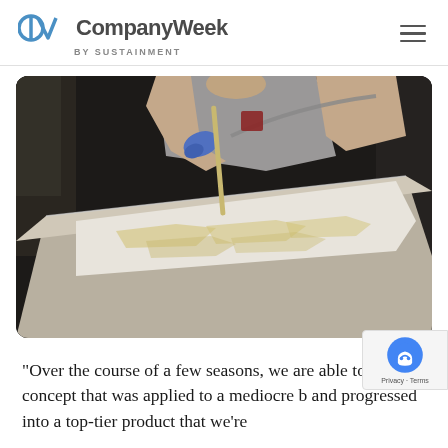CompanyWeek by SUSTAINMENT
[Figure (photo): A worker wearing blue gloves applies resin to a long flat composite material on a worktable in a manufacturing facility. The resin creates translucent patterns on the white fibrous material.]
"Over the course of a few seasons, we are able to [see] a cool concept that was applied to a mediocre b[oard] and progressed into a top-tier product that we're